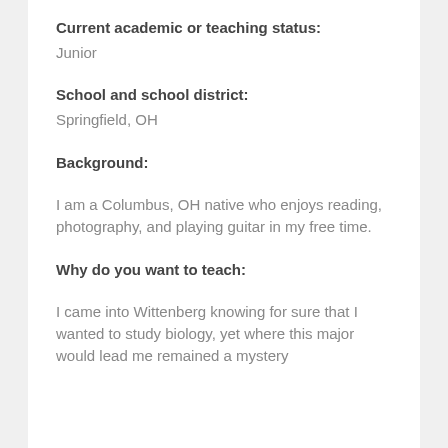Current academic or teaching status:
Junior
School and school district:
Springfield, OH
Background:
I am a Columbus, OH native who enjoys reading, photography, and playing guitar in my free time.
Why do you want to teach:
I came into Wittenberg knowing for sure that I wanted to study biology, yet where this major would lead me remained a mystery